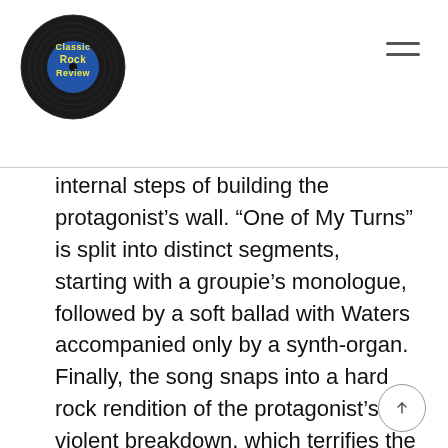Classic Rock Review
internal steps of building the protagonist’s wall. “One of My Turns” is split into distinct segments, starting with a groupie’s monologue, followed by a soft ballad with Waters accompanied only by a synth-organ. Finally, the song snaps into a hard rock rendition of the protagonist’s violent breakdown, which terrifies the groupie. “Don’t Leave Me Now” uses some interesting sound and production techniques but has minimal lyrical content, while “Another Brick in the Wall, Part 3” is a much more rage-filled rendition of the earlier melody. Finally, this cross-fades into “Goodbye Cruel World”...